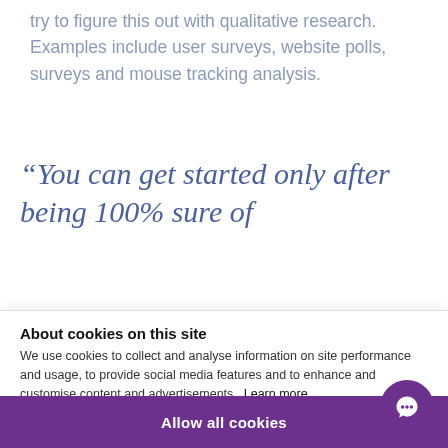try to figure this out with qualitative research. Examples include user surveys, website polls, surveys and mouse tracking analysis.
“You can get started only after being 100% sure of
About cookies on this site
We use cookies to collect and analyse information on site performance and usage, to provide social media features and to enhance and customise content and advertisements. Learn more
Cookie settings
Allow all cookies